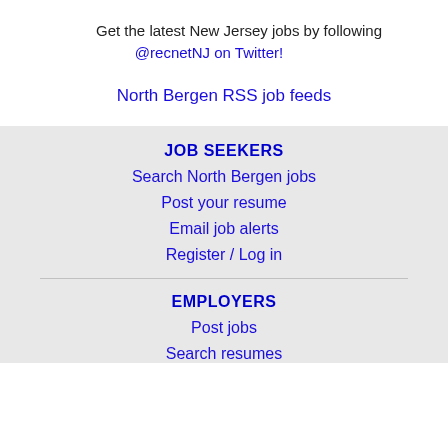Get the latest New Jersey jobs by following @recnetNJ on Twitter!
North Bergen RSS job feeds
JOB SEEKERS
Search North Bergen jobs
Post your resume
Email job alerts
Register / Log in
EMPLOYERS
Post jobs
Search resumes